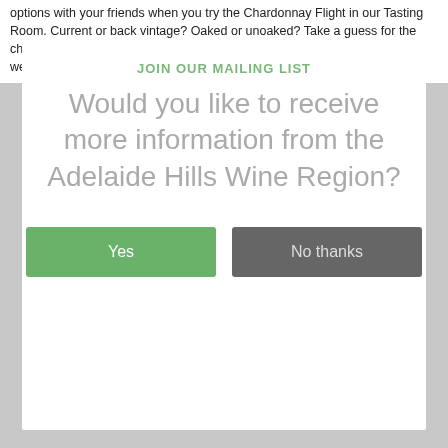options with your friends when you try the Chardonnay Flight in our Tasting Room. Current or back vintage? Oaked or unoaked? Take a guess for the chance to win a bottle of our Lois Sparkling. Available 7 days. Walk-ins welcome. $20pp redeemable.  Read more
JOIN OUR MAILING LIST
Would you like to receive more information from the Adelaide Hills Wine Region?